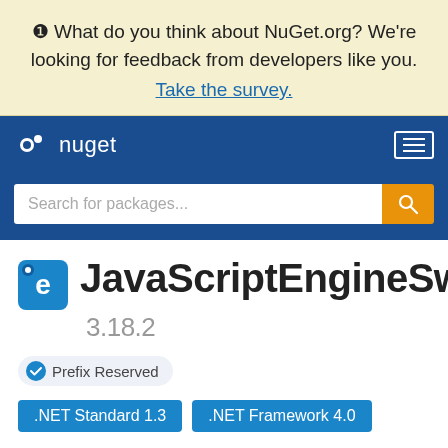❶ What do you think about NuGet.org? We're looking for feedback from developers like you. Take the survey.
nuget | Search for packages...
JavaScriptEngineSwitcher.ChakraCore 3.18.2
Prefix Reserved
.NET Standard 1.3   .NET Framework 4.0